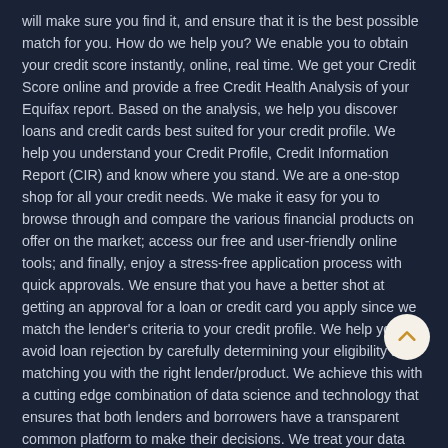will make sure you find it, and ensure that it is the best possible match for you. How do we help you? We enable you to obtain your credit score instantly, online, real time. We get your Credit Score online and provide a free Credit Health Analysis of your Equifax report. Based on the analysis, we help you discover loans and credit cards best suited for your credit profile. We help you understand your Credit Profile, Credit Information Report (CIR) and know where you stand. We are a one-stop shop for all your credit needs. We make it easy for you to browse through and compare the various financial products on offer on the market; access our free and user-friendly online tools; and finally, enjoy a stress-free application process with quick approvals. We ensure that you have a better shot at getting an approval for a loan or credit card you apply since we match the lender's criteria to your credit profile. We help you avoid loan rejection by carefully determining your eligibility and matching you with the right lender/product. We achieve this with a cutting edge combination of data science and technology that ensures that both lenders and borrowers have a transparent common platform to make their decisions. We treat your data with the utmost confidentiality and will never share or sell it to anyone. That is our CreditMantri guarantee. Our dedicated and best-in-class customer service will go the